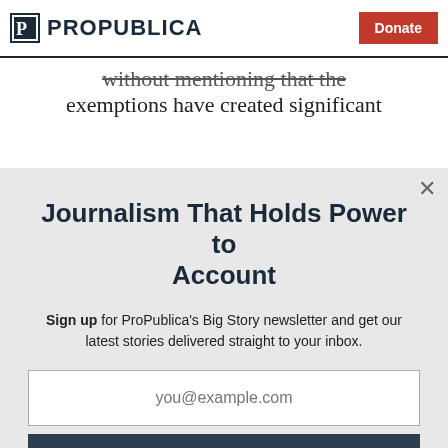ProPublica — Donate
without mentioning that the exemptions have created significant
Journalism That Holds Power to Account
Sign up for ProPublica's Big Story newsletter and get our latest stories delivered straight to your inbox.
you@example.com
Get the Newsletter
No thanks, I'm all set
This site is protected by reCAPTCHA and the Google Privacy Policy and Terms of Service apply.